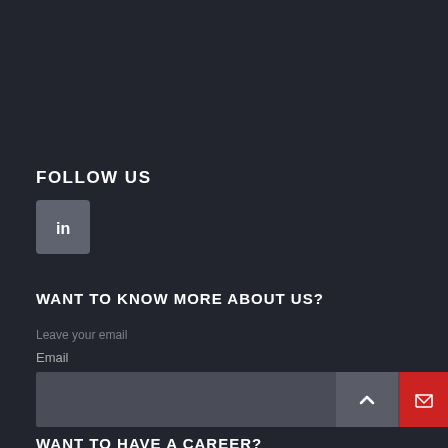FOLLOW US
[Figure (logo): LinkedIn icon button - square with rounded corners in grey with white 'in' logo]
WANT TO KNOW MORE ABOUT US?
Leave your email
Email
[Figure (screenshot): Email input field with scroll-up button and red send/envelope button]
WANT TO HAVE A CAREER?